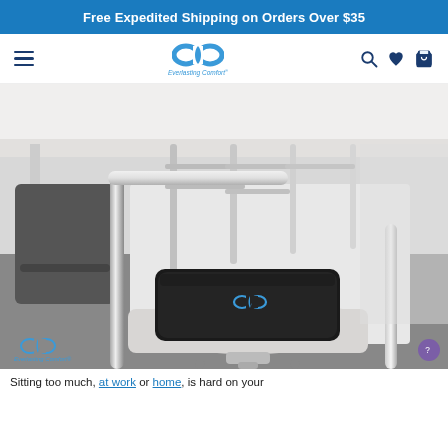Free Expedited Shipping on Orders Over $35
[Figure (logo): Everlasting Comfort infinity loop logo with brand name below, navigation bar with hamburger menu, search icon, heart icon, and shopping bag icon]
[Figure (photo): Black memory foam seat cushion with Everlasting Comfort logo placed on a chrome office chair at a conference table. Multiple chairs visible in background. Everlasting Comfort watermark in lower left corner.]
Sitting too much, at work or home, is hard on your